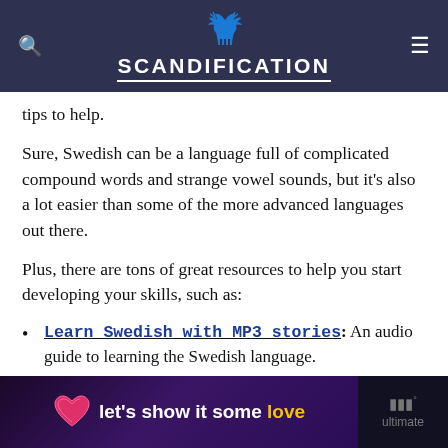SCANDIFICATION
tips to help.
Sure, Swedish can be a language full of complicated compound words and strange vowel sounds, but it’s also a lot easier than some of the more advanced languages out there.
Plus, there are tons of great resources to help you start developing your skills, such as:
Learn Swedish with MP3 stories: An audio guide to learning the Swedish language.
Short stories in Swedish for Beginners: A quick
[Figure (infographic): Advertisement banner reading "let's show it some love" with a pink heart icon, on a dark purple background. Right side shows a dark panel with small logo text 'ultimate'.]